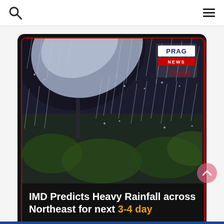[Figure (photo): News article card with Prag News Digital logo. Background photo shows rain falling on an umbrella with green bokeh background. Overlay text reads: IMD Predicts Heavy Rainfall across Northeast for next 3-4 day]
IMD Predicts Heavy Rainfall across Northeast for next 3-4 day